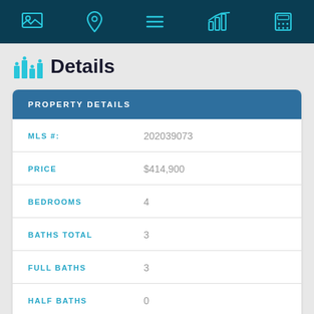Navigation bar with icons: image, location pin, menu, chart, calculator
Details
| Field | Value |
| --- | --- |
| MLS #: | 202039073 |
| PRICE | $414,900 |
| BEDROOMS | 4 |
| BATHS TOTAL | 3 |
| FULL BATHS | 3 |
| HALF BATHS | 0 |
| APPROX. LOT SIZE ACRES | 3 |